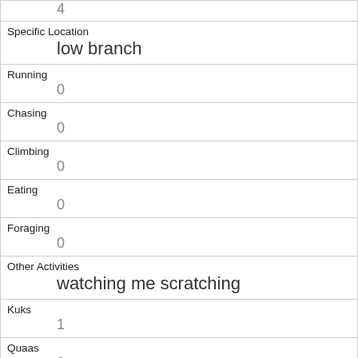| 4 |
| Specific Location | low branch |
| Running | 0 |
| Chasing | 0 |
| Climbing | 0 |
| Eating | 0 |
| Foraging | 0 |
| Other Activities | watching me scratching |
| Kuks | 1 |
| Quaas | 0 |
| Moans | 0 |